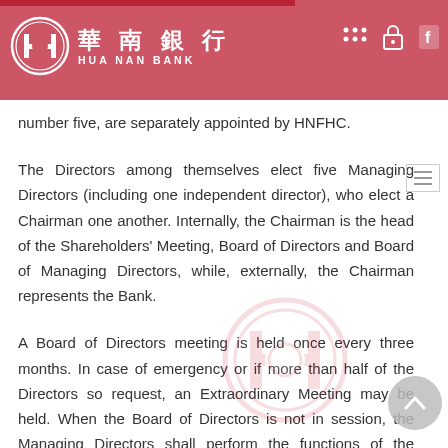華南銀行 HUA NAN BANK
number five, are separately appointed by HNFHC.
The Directors among themselves elect five Managing Directors (including one independent director), who elect a Chairman one another. Internally, the Chairman is the head of the Shareholders' Meeting, Board of Directors and Board of Managing Directors, while, externally, the Chairman represents the Bank.
A Board of Directors meeting is held once every three months. In case of emergency or if more than half of the Directors so request, an Extraordinary Meeting may be held. When the Board of Directors is not in session, the Managing Directors shall perform the functions of the Board of Directors by way of a meeting convened and presided by the Chairman of the Board at any time. Under the Board of Directors...